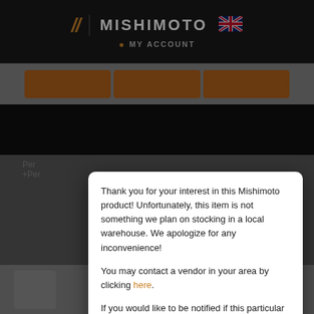[Figure (screenshot): Mishimoto UK website header with logo, MY ACCOUNT link, orange navigation buttons, black product banner, and dimmed background showing partial product page text]
Thank you for your interest in this Mishimoto product! Unfortunately, this item is not something we plan on stocking in a local warehouse. We apologize for any inconvenience!
You may contact a vendor in your area by clicking here.
If you would like to be notified if this particular item becomes available, please click the Sign up button below.
If you are interested in shipping this to your location from our USA warehouse, please click the contact us link below and provide us with the model number and your complete shipping